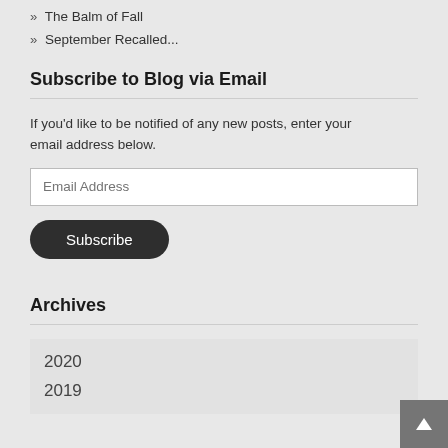» The Balm of Fall
» September Recalled...
Subscribe to Blog via Email
If you'd like to be notified of any new posts, enter your email address below.
Archives
2020
2019